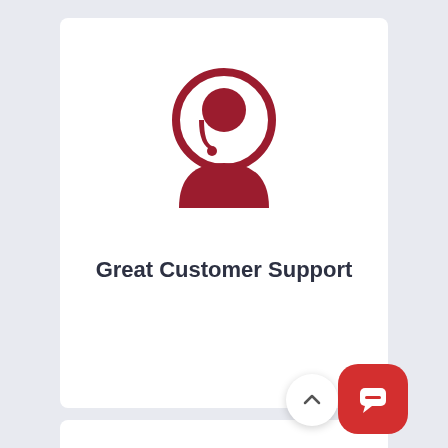[Figure (illustration): Customer support agent icon in dark red/crimson color showing a person with a headset microphone inside a circular outline, with body/shoulders below]
Great Customer Support
[Figure (illustration): Partially visible icon at the bottom of the page, dark red color, appears to be a person or team icon]
[Figure (illustration): Scroll-to-top button: white circular button with upward chevron arrow]
[Figure (illustration): Chat/messenger floating action button: red rounded square button with white chat bubble icon]